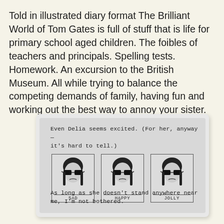Told in illustrated diary format The Brilliant World of Tom Gates is full of stuff that is life for primary school aged children. The foibles of teachers and principals. Spelling tests. Homework. An excursion to the British Museum. All while trying to balance the competing demands of family, having fun and working out the best way to annoy your sister.
[Figure (illustration): Illustrated diary-style image from The Brilliant World of Tom Gates. Handwritten text at top reads: 'Even Delia seems excited. (For her, anyway — it's hard to tell.)' Three framed cartoon portraits of a girl with dark hair and sunglasses, labeled SAD, HAPPY, JOLLY — all looking identical and expressionless. Handwritten text at bottom reads: 'As long as she doesn't stand anywhere near me, I'm not bothered.']